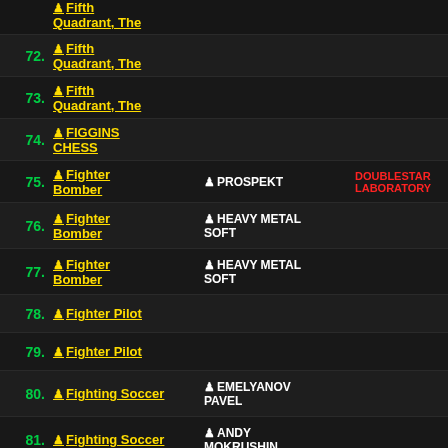| # | Title | Author | Publisher | Tags |
| --- | --- | --- | --- | --- |
| 72. | Fifth Quadrant, The |  |  | TA |
| 73. | Fifth Quadrant, The |  |  | TA |
| 74. | FIGGINS CHESS |  |  | TA |
| 75. | Fighter Bomber | PROSPEKT | DOUBLESTAR LABORATORY | TA |
| 76. | Fighter Bomber | HEAVY METAL SOFT |  | PB. TA |
| 77. | Fighter Bomber | HEAVY METAL SOFT |  | TA |
| 78. | Fighter Pilot |  |  | TA |
| 79. | Fighter Pilot |  |  | TA |
| 80. | Fighting Soccer | EMELYANOV PAVEL |  | T_R_ TA |
| 81. | Fighting Soccer | ANDY MOKRUSHIN |  | T.... TA |
| 82. | Fighting Soccer | PLOMBA SOFT |  | T_ TA |